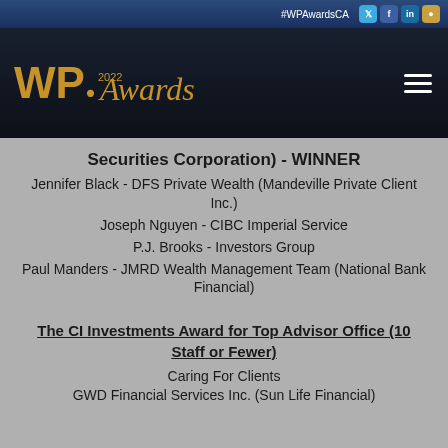#WPAwardsCA
[Figure (logo): WP Awards 2022 logo in gold on dark background with hamburger menu icon]
Securities Corporation) - WINNER
Jennifer Black - DFS Private Wealth (Mandeville Private Client Inc.)
Joseph Nguyen - CIBC Imperial Service
P.J. Brooks - Investors Group
Paul Manders - JMRD Wealth Management Team (National Bank Financial)
The CI Investments Award for Top Advisor Office (10 Staff or Fewer)
Caring For Clients
GWD Financial Services Inc. (Sun Life Financial)